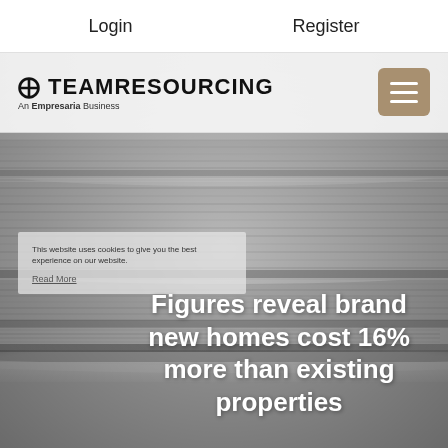Login   Register
[Figure (logo): Team Resourcing logo with triangular icon and text 'TEAMRESOURCING', subtitle 'An Empresaria Business']
[Figure (photo): Black and white photograph of stacked folded newspapers in the background of the hero section]
Figures reveal brand new homes cost 16% more than existing properties